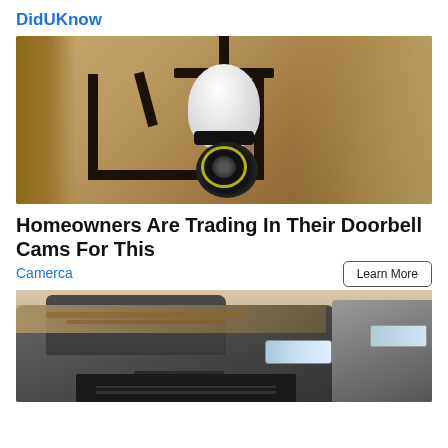DidUKnow
[Figure (photo): Close-up photo of an outdoor wall lantern/light fixture with a white security camera bulb installed inside the black metal frame, mounted on a textured stone or stucco wall]
Homeowners Are Trading In Their Doorbell Cams For This
Camerca
Learn More
[Figure (photo): Photo of a dusty/muddy Range Rover SUV parked, showing the front hood and grille area covered in dirt and debris, with the Range Rover badge visible and headlights shown. A second vehicle is partially visible to the right.]